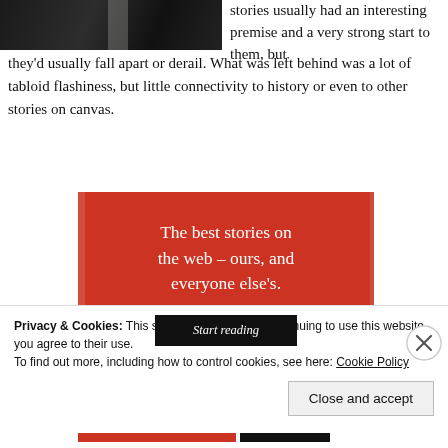[Figure (photo): Partial dark photograph of a figure, cropped at top of page]
stories usually had an interesting premise and a very strong start to them, but they'd usually fall apart or derail. What was left behind was a lot of tabloid flashiness, but little connectivity to history or even to other stories on canvas.
[Figure (infographic): Red advertisement banner reading 'The best stories on the web – ours, and everyone else's.' with a 'Start reading' button]
Privacy & Cookies: This site uses cookies. By continuing to use this website, you agree to their use.
To find out more, including how to control cookies, see here: Cookie Policy
Close and accept